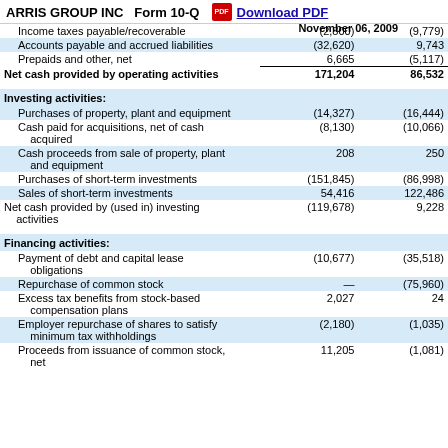ARRIS GROUP INC   Form 10-Q   Download PDF
|  |  |  |
| --- | --- | --- |
| Income taxes payable/recoverable | (2,800) | (9,779) |
| Accounts payable and accrued liabilities | (32,620) | 9,743 |
| Prepaids and other, net | 6,665 | (5,117) |
| Net cash provided by operating activities | 171,204 | 86,532 |
| Investing activities: |  |  |
| Purchases of property, plant and equipment | (14,327) | (16,444) |
| Cash paid for acquisitions, net of cash acquired | (8,130) | (10,066) |
| Cash proceeds from sale of property, plant and equipment | 208 | 250 |
| Purchases of short-term investments | (151,845) | (86,998) |
| Sales of short-term investments | 54,416 | 122,486 |
| Net cash provided by (used in) investing activities | (119,678) | 9,228 |
| Financing activities: |  |  |
| Payment of debt and capital lease obligations | (10,677) | (35,518) |
| Repurchase of common stock | — | (75,960) |
| Excess tax benefits from stock-based compensation plans | 2,027 | 24 |
| Employer repurchase of shares to satisfy minimum tax withholdings | (2,180) | (1,035) |
| Proceeds from issuance of common stock, net | 11,205 | (1,081) |